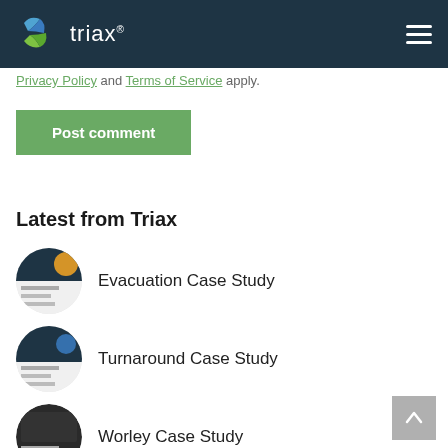triax
Privacy Policy and Terms of Service apply.
Post comment
Latest from Triax
Evacuation Case Study
Turnaround Case Study
Worley Case Study
Faster Evacuation & Muster Case Study